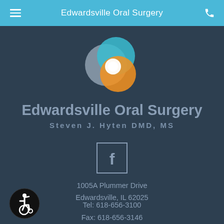Edwardsville Oral Surgery
[Figure (logo): Edwardsville Oral Surgery logo — three overlapping circles in teal/blue, gray, and orange forming a swirl pattern with white highlight in center]
Edwardsville Oral Surgery
Steven J. Hyten DMD, MS
[Figure (logo): Facebook 'f' icon in a square box outline]
1005A Plummer Drive
Edwardsville, IL 62025
Tel: 618-656-3100
Fax: 618-656-3146
[Figure (illustration): Wheelchair accessibility icon in a black circle]